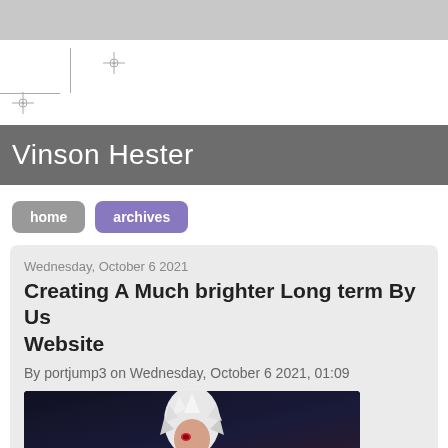Vinson Hester
home
archives
Wednesday, October 6 2021
Creating A Much brighter Long term By Using This Website
By portjump3 on Wednesday, October 6 2021, 01:09
[Figure (illustration): Anime character with white spiky hair and dark background]